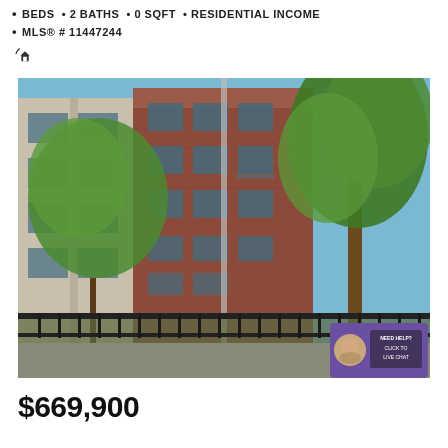• BEDS • 2 BATHS • 0 SQFT • RESIDENTIAL INCOME
• MLS® # 11447244
[Figure (photo): Exterior photo of a multi-story red brick residential income property in Chicago, with large trees in foreground, black iron fence, and neighboring modern building visible on the left. Blue sky overhead.]
$669,900